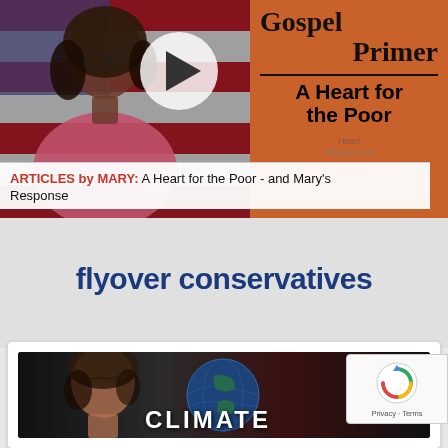[Figure (screenshot): Video thumbnail showing a woman in a pink shirt in front of an American flag, with a play button overlay, and a book cover on the right showing 'Gospel Primer' and 'A Heart for the Poor']
ARTICLES by MARY: A Heart for the Poor - and Mary's Response
flyover conservatives
[Figure (screenshot): Video thumbnail showing a young woman's face on the left and a globe image with the word CLIMATE on the right, dark background]